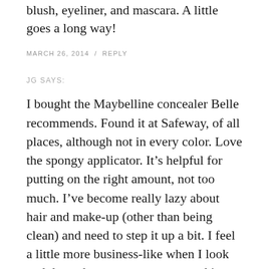blush, eyeliner, and mascara. A little goes a long way!
MARCH 26, 2014  /  REPLY
JG SAYS:
I bought the Maybelline concealer Belle recommends. Found it at Safeway, of all places, although not in every color. Love the spongy applicator. It’s helpful for putting on the right amount, not too much. I’ve become really lazy about hair and make-up (other than being clean) and need to step it up a bit. I feel a little more business-like when I look and dress the part — same as working out in the right clothes — just gives a little psychological boost.
MARCH 26, 2014  /  REPLY
TIFFANY SAYS: